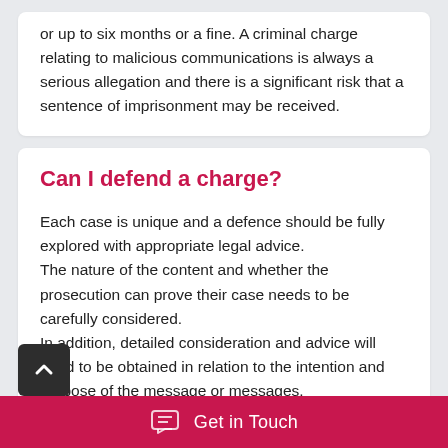or up to six months or a fine. A criminal charge relating to malicious communications is always a serious allegation and there is a significant risk that a sentence of imprisonment may be received.
Can I defend a charge?
Each case is unique and a defence should be fully explored with appropriate legal advice. The nature of the content and whether the prosecution can prove their case needs to be carefully considered. In addition, detailed consideration and advice will need to be obtained in relation to the intention and purpose of the message or messages.
A distinction must be made between the right to express oneself and something that is unnecessary or harmful in a criminal context.
Get in Touch